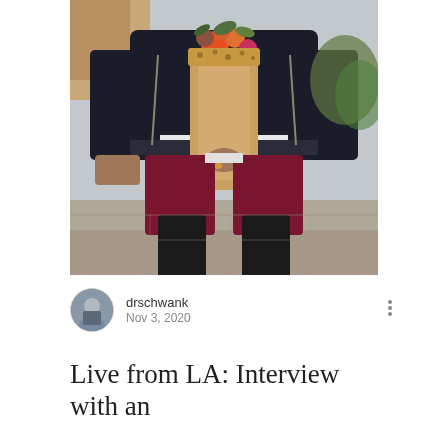[Figure (photo): Person wearing a black jacket, white layered top, dark red/maroon shorts, and black knee-high socks, holding a bouquet of colorful flowers wrapped in kraft paper, standing on a sidewalk/pavement outdoors.]
drschwank
Nov 3, 2020
Live from LA: Interview with an